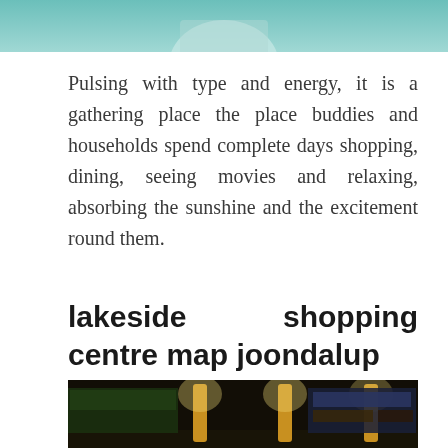[Figure (photo): Top portion of an indoor/outdoor shopping centre scene with teal/green background, partial view of people]
Pulsing with type and energy, it is a gathering place the place buddies and households spend complete days shopping, dining, seeing movies and relaxing, absorbing the sunshine and the excitement round them.
lakeside shopping centre map joondalup
[Figure (photo): Interior night view of Lakeside Joondalup shopping centre with warm lamp posts and illuminated store signs]